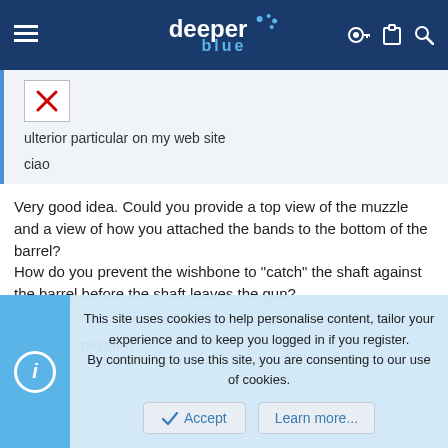deeper blue
ulterior particular on my web site

ciao
Very good idea. Could you provide a top view of the muzzle and a view of how you attached the bands to the bottom of the barrel?
How do you prevent the wishbone to "catch" the shaft against the barrel before the shaft leaves the gun?
persiko
persiko
This site uses cookies to help personalise content, tailor your experience and to keep you logged in if you register.
By continuing to use this site, you are consenting to our use of cookies.
Accept   Learn more...